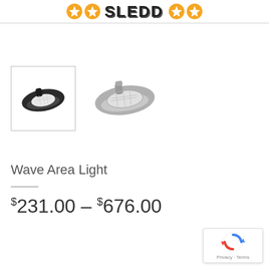SLEDD (logo with star icons)
[Figure (photo): Two LED area light fixtures: one dark/black variant shown in a thumbnail box with border, and one silver/gray variant shown larger to the right. Wave Area Light product images.]
Wave Area Light
$231.00 – $676.00
[Figure (logo): Google reCAPTCHA badge with blue/red arrow icon and 'Privacy - Terms' text]